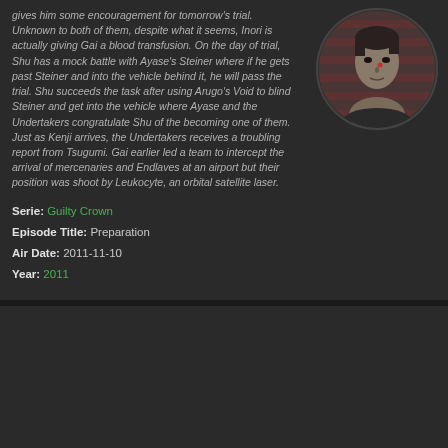gives him some encouragement for tomorrow's trial. Unknown to both of them, despite what it seems, Inori is actually giving Gai a blood transfusion. On the day of trial, Shu has a mock battle with Ayase's Steiner where if he gets past Steiner and into the vehicle behind it, he will pass the trial. Shu succeeds the task after using Arugo's Void to blind Steiner and get into the vehicle where Ayase and the Undertakers congratulate Shu of the becoming one of them. Just as Kenji arrives, the Undertakers receives a troubling report from Tsugumi. Gai earlier led a team to intercept the arrival of mercenaries and Endlaves at an airport but their position was shoot by Leukocyte, an orbital satellite laser.
[Figure (photo): Circular portrait photo of a male character, appears to be an anime-style or live-action figure with dark hair, shown from shoulders up against a reddish-striped background]
Serie: Guilty Crown
Episode Title: Preparation
Air Date: 2011-11-10
Year: 2011